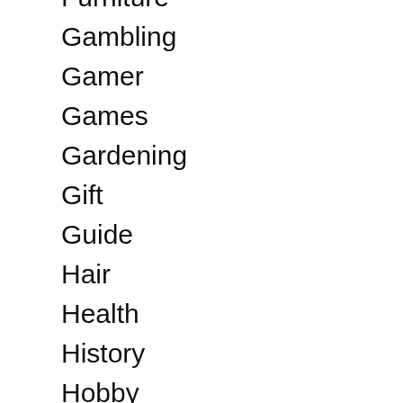Furniture
Gambling
Gamer
Games
Gardening
Gift
Guide
Hair
Health
History
Hobby
Home
How to...
Ice Hockey
Incapacity
Industry